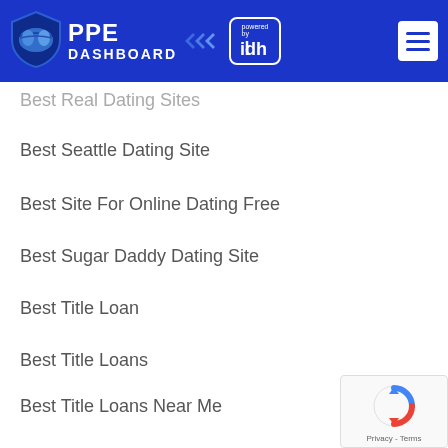PPE DASHBOARD powered by idh
Best Real Dating Sites
Best Seattle Dating Site
Best Site For Online Dating Free
Best Sugar Daddy Dating Site
Best Title Loan
Best Title Loans
Best Title Loans Near Me
Best Title Loans Online
Best Titleloan